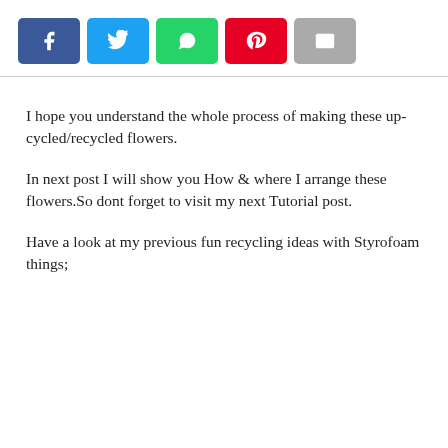[Figure (other): Row of social media share buttons: Facebook (blue), Twitter (light blue), WhatsApp (green), Pinterest (red), Email (gray)]
I hope you understand the whole process of making these up-cycled/recycled flowers.
In next post I will show you How & where I arrange these flowers.So dont forget to visit my next Tutorial post.
Have a look at my previous fun recycling ideas with Styrofoam things;